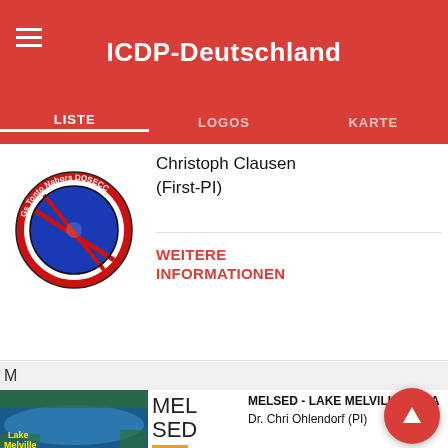ICDP-Deutschland
LISTE | LOGOS | KARTE
Christoph Clausen (First-PI)
WEITERE INFORMATIONEN
[Figure (logo): DOSECC circular logo with text: Gs Tonto Nabors DOSECC]
M
[Figure (photo): Aerial/satellite image of Lake Melville with yellow text label]
MEL SED
ICDP
MELSED - LAKE MELVILLE - CANADA, Dr. Chris Ohlendorf (PI)